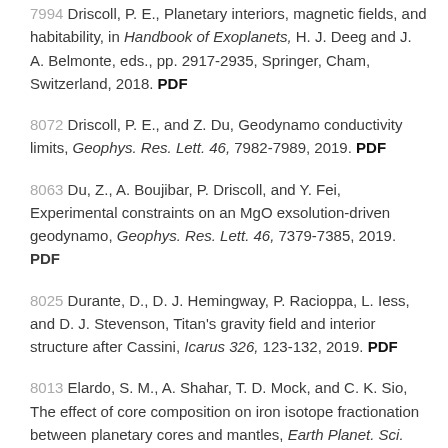7994  Driscoll, P. E., Planetary interiors, magnetic fields, and habitability, in Handbook of Exoplanets, H. J. Deeg and J. A. Belmonte, eds., pp. 2917-2935, Springer, Cham, Switzerland, 2018. PDF
8072  Driscoll, P. E., and Z. Du, Geodynamo conductivity limits, Geophys. Res. Lett. 46, 7982-7989, 2019. PDF
8063  Du, Z., A. Boujibar, P. Driscoll, and Y. Fei, Experimental constraints on an MgO exsolution-driven geodynamo, Geophys. Res. Lett. 46, 7379-7385, 2019. PDF
8025  Durante, D., D. J. Hemingway, P. Racioppa, L. Iess, and D. J. Stevenson, Titan's gravity field and interior structure after Cassini, Icarus 326, 123-132, 2019. PDF
8013  Elardo, S. M., A. Shahar, T. D. Mock, and C. K. Sio, The effect of core composition on iron isotope fractionation between planetary cores and mantles, Earth Planet. Sci.